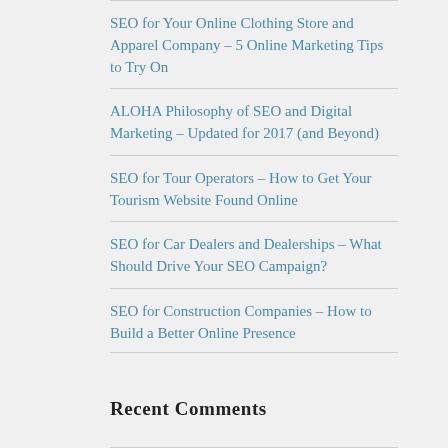SEO for Your Online Clothing Store and Apparel Company – 5 Online Marketing Tips to Try On
ALOHA Philosophy of SEO and Digital Marketing – Updated for 2017 (and Beyond)
SEO for Tour Operators – How to Get Your Tourism Website Found Online
SEO for Car Dealers and Dealerships – What Should Drive Your SEO Campaign?
SEO for Construction Companies – How to Build a Better Online Presence
Recent Comments